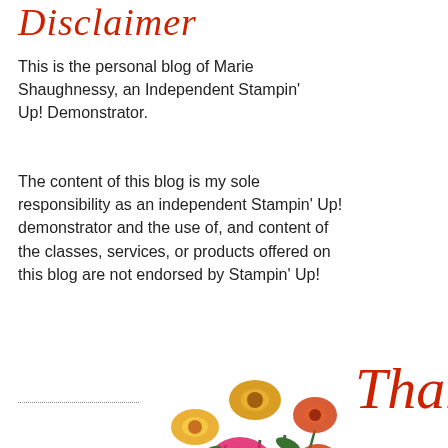Disclaimer
This is the personal blog of Marie Shaughnessy, an Independent Stampin' Up! Demonstrator.
The content of this blog is my sole responsibility as an independent Stampin' Up! demonstrator and the use of, and content of the classes, services, or products offered on this blog are not endorsed by Stampin' Up!
[Figure (illustration): A bouquet of paper flowers including pink roses, orange flowers, and yellow flowers with green stems, partially visible at the bottom of the page.]
Thank